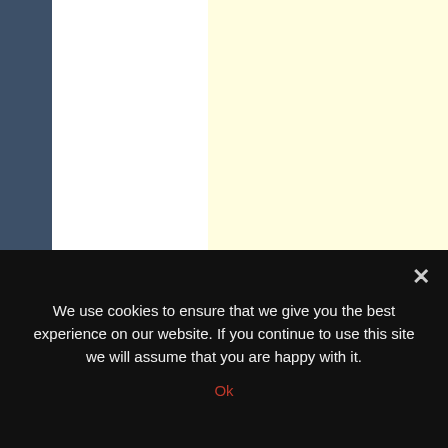[Figure (screenshot): Website screenshot showing a dark blue sidebar on the left, a white content column in the middle-left, and a pale yellow advertisement block on the right side. Below the ad block is a section header reading 'ALSO ON JEDI TEMPLE ARCHIVES NEWS' and thumbnail cards below it.]
ALSO ON JEDI TEMPLE ARCHIVES NEWS
We use cookies to ensure that we give you the best experience on our website. If you continue to use this site we will assume that you are happy with it.
Ok